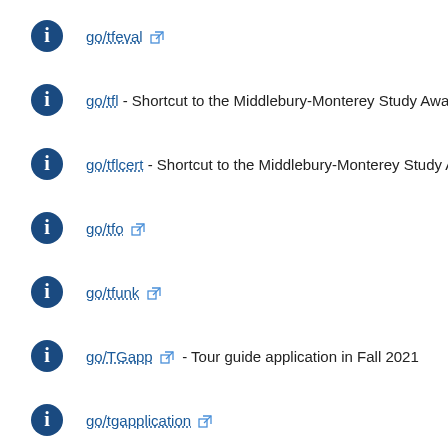go/tfeval [external link]
go/tfl - Shortcut to the Middlebury-Monterey Study Away page
go/tflcert - Shortcut to the Middlebury-Monterey Study Away page
go/tfo [external link]
go/tfunk [external link]
go/TGapp [external link] - Tour guide application in Fall 2021
go/tgapplication [external link]
go/tgavailability [external link] - List of availability for Spring 2015 that tour gui